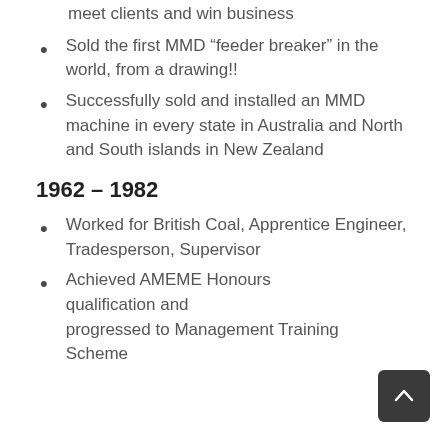meet clients and win business
Sold the first MMD “feeder breaker” in the world, from a drawing!!
Successfully sold and installed an MMD machine in every state in Australia and North and South islands in New Zealand
1962 – 1982
Worked for British Coal, Apprentice Engineer, Tradesperson, Supervisor
Achieved AMEME Honours qualification and progressed to Management Training Scheme